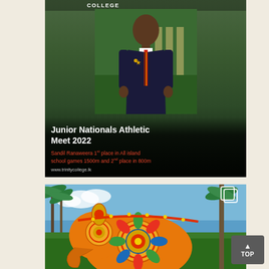[Figure (photo): School student in dark blazer and striped red/black/gold tie with gold star pin, standing outdoors in a school setting with greenery. Overlay text reads 'Junior Nationals Athletic Meet 2022' and 'Sandil Ranaweera 1st place in All island school games 1500m and 2nd place in 800m' and 'www.trinitycollege.lk'. Trinity College logo visible at top.]
[Figure (photo): Decorated ceremonial elephant with colorful ornate caparison (traditional Sri Lankan perahera decoration) featuring circular mandala patterns in orange, red, blue, green and gold, standing among tall palm trees against a blue sky. Multi-image indicator icon in top right.]